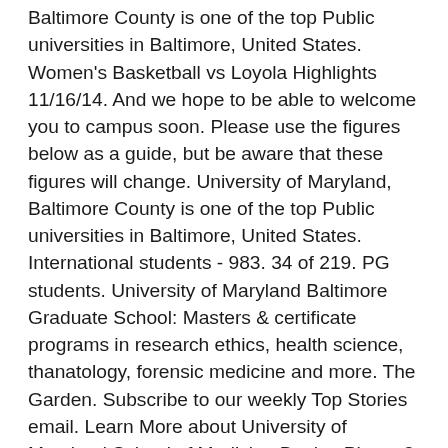Baltimore County is one of the top Public universities in Baltimore, United States. Women's Basketball vs Loyola Highlights 11/16/14. And we hope to be able to welcome you to campus soon. Please use the figures below as a guide, but be aware that these figures will change. University of Maryland, Baltimore County is one of the top Public universities in Baltimore, United States. International students - 983. 34 of 219. PG students. University of Maryland Baltimore Graduate School: Masters & certificate programs in research ethics, health science, thanatology, forensic medicine and more. The Garden. Subscribe to our weekly Top Stories email. Learn More about University of Maryland School of Medicine Begins Phase 3 Trial of Novavax COVID-19 Vaccine Candidate. University of Maryland, Baltimore County. It is ranked #701-750 in QS Global World University Rankings 2021. The University of Maryland, Baltimore is the founding campus of the University System of Maryland. Call 4101-887-8090 to inquire when faculty and staff will be available. As an Honors University, the campus offers academically talented students a